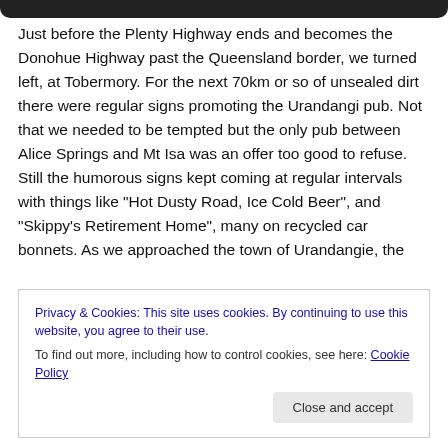Just before the Plenty Highway ends and becomes the Donohue Highway past the Queensland border, we turned left, at Tobermory. For the next 70km or so of unsealed dirt there were regular signs promoting the Urandangi pub. Not that we needed to be tempted but the only pub between Alice Springs and Mt Isa was an offer too good to refuse. Still the humorous signs kept coming at regular intervals with things like “Hot Dusty Road, Ice Cold Beer”, and “Skippy’s Retirement Home”, many on recycled car bonnets. As we approached the town of Urandangie, the
Privacy & Cookies: This site uses cookies. By continuing to use this website, you agree to their use.
To find out more, including how to control cookies, see here: Cookie Policy